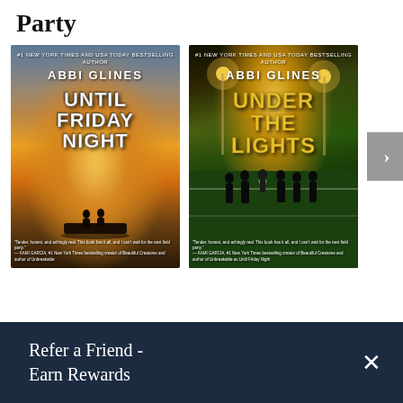Party
[Figure (photo): Book cover: 'Until Friday Night' by Abbi Glines — couple silhouetted against a sunset on a car roof near a football field]
[Figure (photo): Book cover: 'Under the Lights' by Abbi Glines — group of teens standing on a football field at night under stadium lights]
Refer a Friend - Earn Rewards